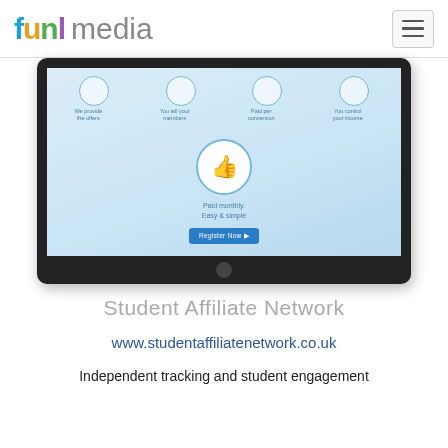[Figure (logo): funl media logo with colorful letters and grey 'media' text, plus hamburger menu button on the right]
[Figure (screenshot): Tablet mockup showing a student affiliate network interface with four steps: We provide the offers, You tell your members, Paid per conversion, You control your income. Central thumbs-up icon in a circle. Text: Paid monthly. Easy & simple. Blue Register Now button.]
Student Affiliate Network
www.studentaffiliatenetwork.co.uk
Independent tracking and student engagement